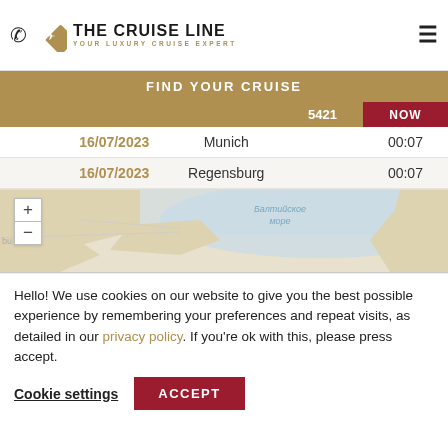THE CRUISE LINE — YOUR LUXURY CRUISE EXPERT
FIND YOUR CRUISE
|  | 16/07/2023 |  | 5421 | NOW |
| --- | --- | --- | --- | --- |
|  | 16/07/2023 | Munich |  | 00:07 |
|  | 16/07/2023 | Regensburg |  | 00:07 |
[Figure (map): Map showing Baltic Sea region with Cyrillic text labels (Балтийское море). Map includes zoom controls (+/-) on the left side.]
Hello! We use cookies on our website to give you the best possible experience by remembering your preferences and repeat visits, as detailed in our privacy policy. If you're ok with this, please press accept.
Cookie settings | ACCEPT